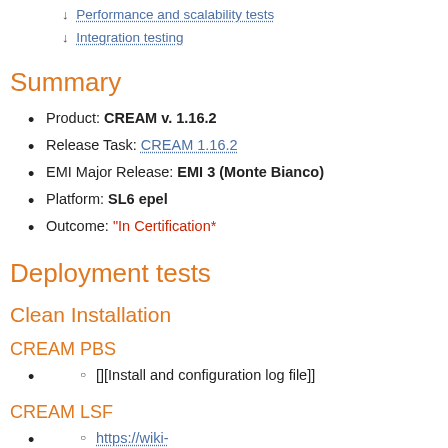↓ Performance and scalability tests
↓ Integration testing
Summary
Product: CREAM v. 1.16.2
Release Task: CREAM 1.16.2
EMI Major Release: EMI 3 (Monte Bianco)
Platform: SL6 epel
Outcome: "In Certification*
Deployment tests
Clean Installation
CREAM PBS
[][Install and configuration log file]]
CREAM LSF
https://wiki-igi.cnaf.infn.it/twiki/pub/IGIRelease/EMI2CREAMTask...